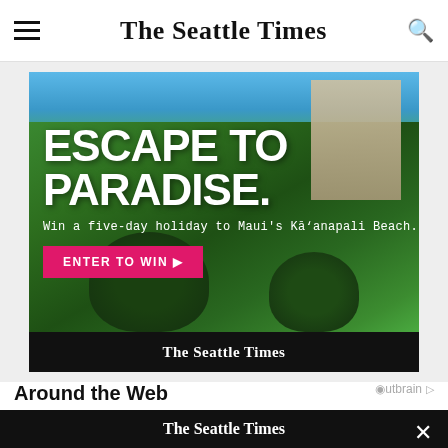The Seattle Times
[Figure (photo): Advertisement for The Seattle Times - aerial view of Maui resort with text 'ESCAPE TO PARADISE. Win a five-day holiday to Maui's Ka'anapali Beach.' and a pink 'ENTER TO WIN' button. Footer shows 'The Seattle Times' logo on black background.]
Around the Web
[Figure (logo): Outbrain sponsored content logo]
[Figure (screenshot): The Seattle Times newsletter signup overlay on black background. Shows 'The Seattle Times' logo, 'Sign up for Evening Brief.' headline, and 'Get a recap of today's top stories and essential news' description. Has a close X button.]